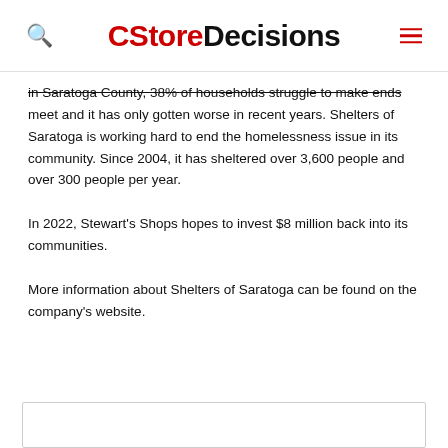CStoreDecisions
in Saratoga County, 38% of households struggle to make ends meet and it has only gotten worse in recent years. Shelters of Saratoga is working hard to end the homelessness issue in its community. Since 2004, it has sheltered over 3,600 people and over 300 people per year.
In 2022, Stewart's Shops hopes to invest $8 million back into its communities.
More information about Shelters of Saratoga can be found on the company's website.